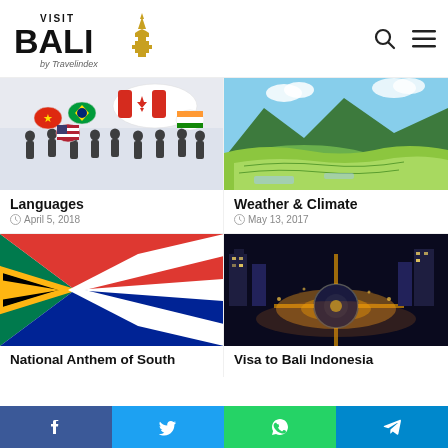[Figure (logo): Visit Bali by Travelindex logo with golden temple icon]
[Figure (illustration): People silhouettes with speech bubbles containing various country flags representing multiple languages]
Languages
April 5, 2018
[Figure (photo): Aerial view of green rice terraces with river and mountains in background]
Weather & Climate
May 13, 2017
[Figure (photo): South Africa national flag waving]
National Anthem of South...
[Figure (photo): Aerial night view of Jakarta roundabout with light trails]
Visa to Bali Indonesia...